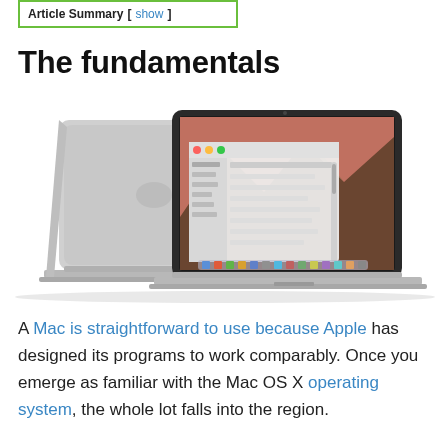Article Summary [show]
The fundamentals
[Figure (photo): Two MacBook laptops shown from behind and front — one open showing OS X desktop with mountain wallpaper and a Finder-type window, one showing the silver aluminum back — arranged in a product-style marketing photograph on a white background.]
A Mac is straightforward to use because Apple has designed its programs to work comparably. Once you emerge as familiar with the Mac OS X operating system, the whole lot falls into the region.